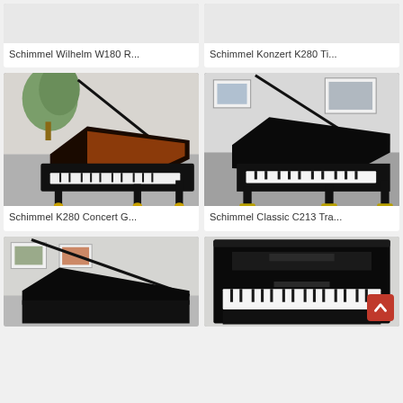[Figure (photo): Partial view of Schimmel Wilhelm W180 piano product card, top cropped]
Schimmel Wilhelm W180 R...
[Figure (photo): Partial view of Schimmel Konzert K280 piano product card, top cropped]
Schimmel Konzert K280 Ti...
[Figure (photo): Photo of Schimmel K280 Concert Grand piano in black lacquer with open lid, shown at angle, in showroom]
Schimmel K280 Concert G...
[Figure (photo): Photo of Schimmel Classic C213 Tra piano in black lacquer with open lid, shown from front in showroom]
Schimmel Classic C213 Tra...
[Figure (photo): Partial view of another Schimmel grand piano with open lid, side view in showroom]
[Figure (photo): Partial view of Schimmel upright piano in black lacquer, front view in showroom]